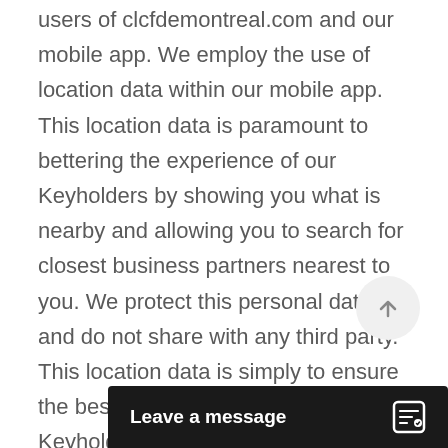users of clcfdemontreal.com and our mobile app. We employ the use of location data within our mobile app. This location data is paramount to bettering the experience of our Keyholders by showing you what is nearby and allowing you to search for closest business partners nearest to you. We protect this personal data and do not share with any third party. This location data is simply to ensure the best overall experience as a Keyholder whenever using our mobile app. You may choose to not allow this at any time in your settings.
Toronto City Key Ltd. is our official developer for